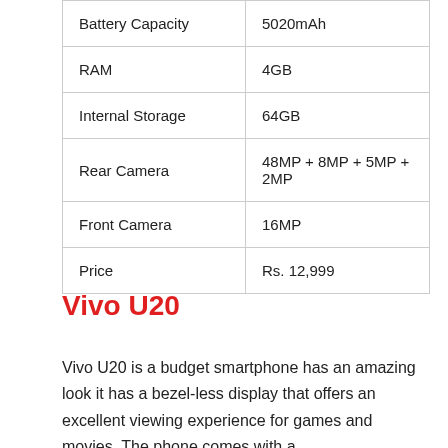| Battery Capacity | 5020mAh |
| RAM | 4GB |
| Internal Storage | 64GB |
| Rear Camera | 48MP + 8MP + 5MP + 2MP |
| Front Camera | 16MP |
| Price | Rs. 12,999 |
Vivo U20
Vivo U20 is a budget smartphone has an amazing look it has a bezel-less display that offers an excellent viewing experience for games and movies. The phone comes with a